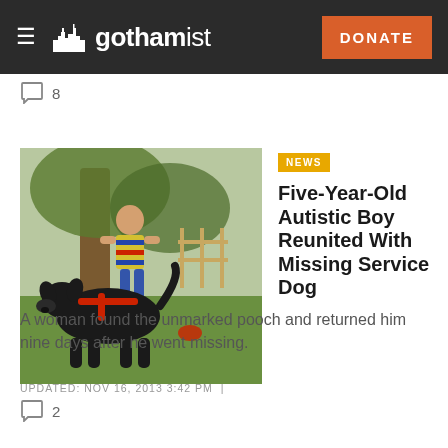gothamist — DONATE
8
[Figure (photo): A young child in a striped shirt standing outdoors next to a large black dog wearing a red harness, in a grassy yard with trees in the background.]
NEWS
Five-Year-Old Autistic Boy Reunited With Missing Service Dog
A woman found the unmarked pooch and returned him nine days after he went missing.
UPDATED: NOV 16, 2013 3:42 PM |
2